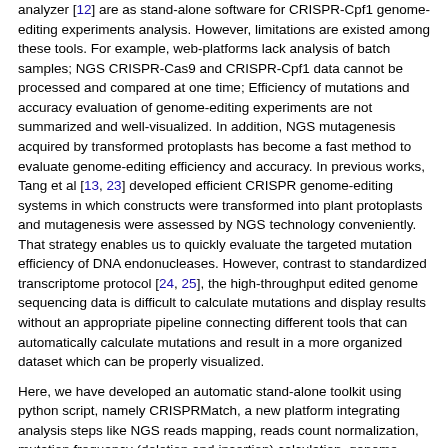analyzer [12] are as stand-alone software for CRISPR-Cpf1 genome-editing experiments analysis. However, limitations are existed among these tools. For example, web-platforms lack analysis of batch samples; NGS CRISPR-Cas9 and CRISPR-Cpf1 data cannot be processed and compared at one time; Efficiency of mutations and accuracy evaluation of genome-editing experiments are not summarized and well-visualized. In addition, NGS mutagenesis acquired by transformed protoplasts has become a fast method to evaluate genome-editing efficiency and accuracy. In previous works, Tang et al [13, 23] developed efficient CRISPR genome-editing systems in which constructs were transformed into plant protoplasts and mutagenesis were assessed by NGS technology conveniently. That strategy enables us to quickly evaluate the targeted mutation efficiency of DNA endonucleases. However, contrast to standardized transcriptome protocol [24, 25], the high-throughput edited genome sequencing data is difficult to calculate mutations and display results without an appropriate pipeline connecting different tools that can automatically calculate mutations and result in a more organized dataset which can be properly visualized.
Here, we have developed an automatic stand-alone toolkit using python script, namely CRISPRMatch, a new platform integrating analysis steps like NGS reads mapping, reads count normalization, mutation frequency (deletion and insertion) calculation, genome-editing efficiency statistics at each position of target region, and results multiform expression. After installing a couple of independent packages, CRISPRMatch can analyze a series of CRISPR-Cas9 or CRISPR-Cpf1 NGS samples and compare the efficiency and accuracy of genome-editing endonucleases at one time. These packages including BWA (Burrows-Wheeler Aligner) [26], SAMtools [27] and Picard are applied for mapping reads and mutation calling). Pysam [27] is assisted in reads classification, indels detection and mutation calculation. Matplotlibs [28] is used for improved views of reads